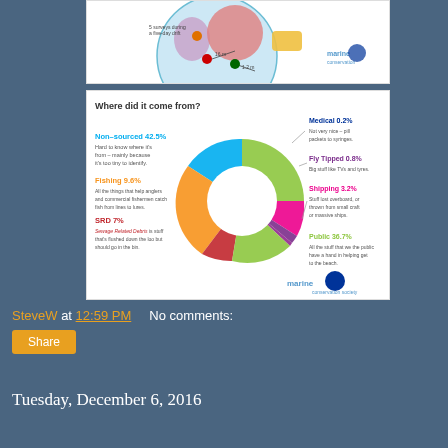[Figure (map): Map of UK/British Isles showing marine conservation data points with icons and distance markers, Marine Conservation Society logo]
[Figure (donut-chart): Donut chart showing sources of beach litter: Non-sourced 42.5%, Public 36.7%, Fishing 9.6%, SRD 7%, Shipping 3.2%, Fly Tipped 0.8%, Medical 0.2%. Marine Conservation Society infographic.]
SteveW at 12:59 PM    No comments:
Share
Tuesday, December 6, 2016